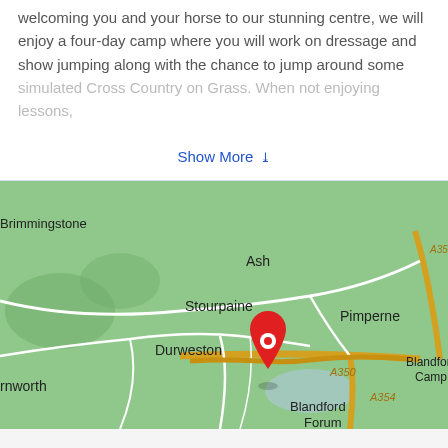welcoming you and your horse to our stunning centre, we will enjoy a four-day camp where you will work on dressage and show jumping along with the chance to jump around some simulated Cross Country on Grass. When not enjoying lessons,
Show More ∨
[Figure (map): Google Maps showing area near Durweston, Stourpaine, Pimperne and Blandford Forum in Dorset, UK, with a red map pin marker, and road labels including A350 and A354.]
This event has ended.